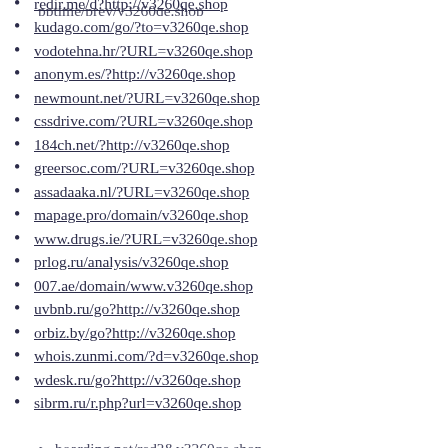redir.me/d?http://v3260qe.shop
kudago.com/go/?to=v3260qe.shop
vodotehna.hr/?URL=v3260qe.shop
anonym.es/?http://v3260qe.shop
newmount.net/?URL=v3260qe.shop
cssdrive.com/?URL=v3260qe.shop
184ch.net/?http://v3260qe.shop
greersoc.com/?URL=v3260qe.shop
assadaaka.nl/?URL=v3260qe.shop
mapage.pro/domain/v3260qe.shop
www.drugs.ie/?URL=v3260qe.shop
prlog.ru/analysis/v3260qe.shop
007.ae/domain/www.v3260qe.shop
uvbnb.ru/go?http://v3260qe.shop
orbiz.by/go?http://v3260qe.shop
whois.zunmi.com/?d=v3260qe.shop
wdesk.ru/go?http://v3260qe.shop
sibrm.ru/r.php?url=v3260qe.shop